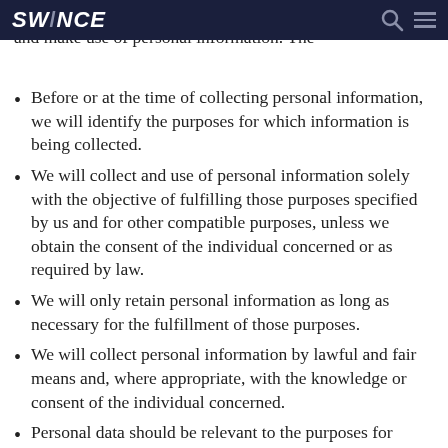understand how we collect, use, communicate and disclose and make use of personal information. The
SWINCE [logo with search and menu icons]
Before or at the time of collecting personal information, we will identify the purposes for which information is being collected.
We will collect and use of personal information solely with the objective of fulfilling those purposes specified by us and for other compatible purposes, unless we obtain the consent of the individual concerned or as required by law.
We will only retain personal information as long as necessary for the fulfillment of those purposes.
We will collect personal information by lawful and fair means and, where appropriate, with the knowledge or consent of the individual concerned.
Personal data should be relevant to the purposes for which it is to be used, and, to the extent necessary for the purposes, should be accurate, complete, and up-to-date.